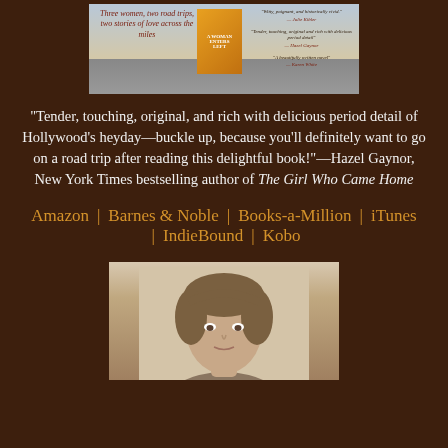[Figure (photo): Book banner for a novel about three women, two road trips, two stories of love across the miles. Shows cover image with a woman in a yellow skirt next to a red car, with blurb quotes from multiple authors.]
“Tender, touching, original, and rich with delicious period detail of Hollywood’s heyday—buckle up, because you'll definitely want to go on a road trip after reading this delightful book!”—Hazel Gaynor, New York Times bestselling author of The Girl Who Came Home
Amazon | Barnes & Noble | Books-a-Million | iTunes | IndieBound | Kobo
[Figure (photo): Author headshot photo showing a person with short brown hair.]